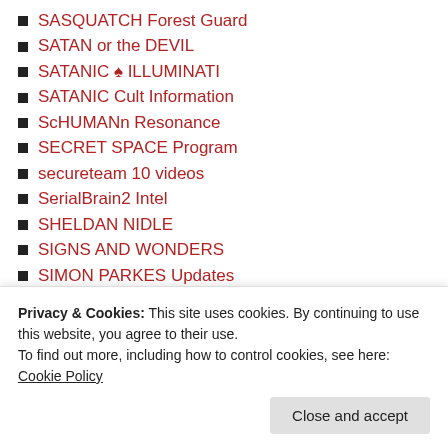SASQUATCH Forest Guard
SATAN or the DEVIL
SATANIC ♠ ILLUMINATI
SATANIC Cult Information
ScHUMANn Resonance
SECRET SPACE Program
secureteam 10 videos
SerialBrain2 Intel
SHELDAN NIDLE
SIGNS AND WONDERS
SIMON PARKES Updates
SIMON PETRUS – Disciple
Sisterhood of the Rose
SKULLS and BONES YALE
SMART METERS – KILL
SOLAR CELL PRODUCTS
SOLAR CELL PROJECTS
Sound Frequency Heals
Privacy & Cookies: This site uses cookies. By continuing to use this website, you agree to their use. To find out more, including how to control cookies, see here: Cookie Policy
Close and accept